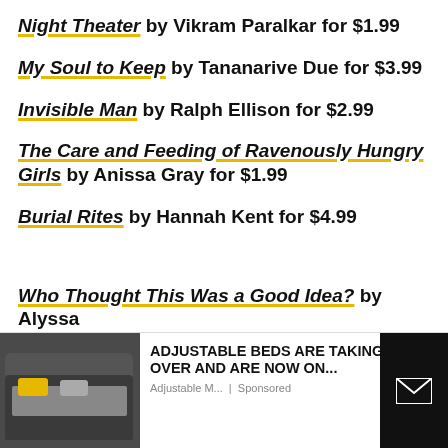Night Theater by Vikram Paralkar for $1.99
My Soul to Keep by Tananarive Due for $3.99
Invisible Man by Ralph Ellison for $2.99
The Care and Feeding of Ravenously Hungry Girls by Anissa Gray for $1.99
Burial Rites by Hannah Kent for $4.99
Who Thought This Was a Good Idea? by Alyssa M... for $?.??
[Figure (other): Advertisement banner for adjustable beds with a photo of a bed, bold text 'ADJUSTABLE BEDS ARE TAKING OVER AND ARE NOW ON...' with source 'Adjustable M... | Sponsored' and a close button X, plus a dark panel with an envelope icon on the right.]